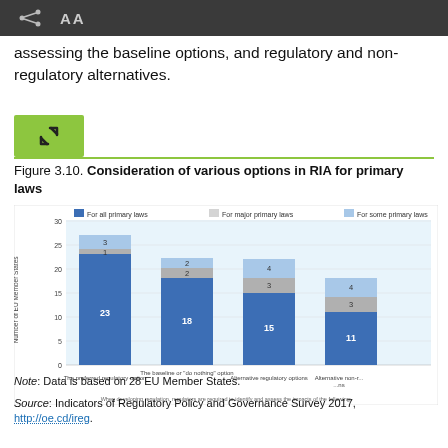assessing the baseline options, and regulatory and non-regulatory alternatives.
Figure 3.10. Consideration of various options in RIA for primary laws
[Figure (stacked-bar-chart): Consideration of various options in RIA for primary laws]
Note: Data is based on 28 EU Member States.
Source: Indicators of Regulatory Policy and Governance Survey 2017, http://oe.cd/ireg.